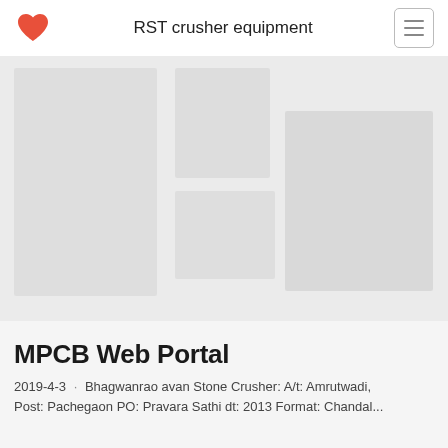RST crusher equipment
[Figure (photo): Faded/blurred image area showing crusher equipment, split into two placeholder image regions on a light grey background]
MPCB Web Portal
2019-4-3 · Bhagwanrao avan Stone Crusher: A/t: Amrutwadi, Post: Pachegaon PO: Pravara Sathi dt: 2013 Format: Chandal...